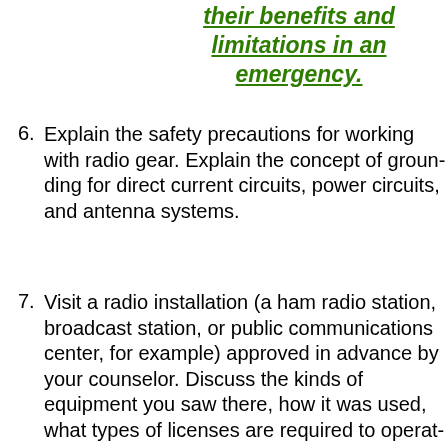their benefits and limitations in an emergency.
6. Explain the safety precautions for working with radio gear. Explain the concept of grounding for direct current circuits, power circuits, and antenna systems.
7. Visit a radio installation (a ham radio station, broadcast station, or public communications center, for example) approved in advance by your counselor. Discuss the kinds of equipment you saw there, how it was used, what types of licenses are required to operate and maintain the equipment, and the purpose of the station.
8. Find out about three career opportunities in radio. For each, find out the education, training, and experience required for the profession. Discuss this with your counselor, and explain how this profession might interest you.
9. Do ONE of the following (a, b, OR c OR d)
a. AMATEUR RADIO